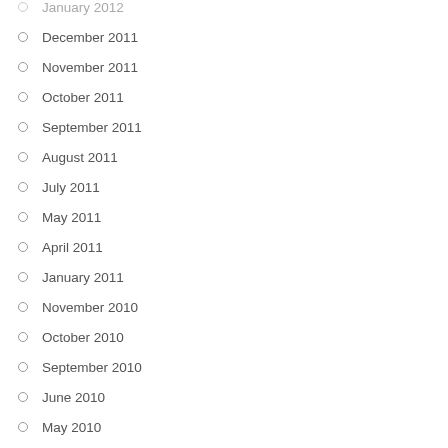January 2012
December 2011
November 2011
October 2011
September 2011
August 2011
July 2011
May 2011
April 2011
January 2011
November 2010
October 2010
September 2010
June 2010
May 2010
March 2010
January 2010
December 2009
October 2009